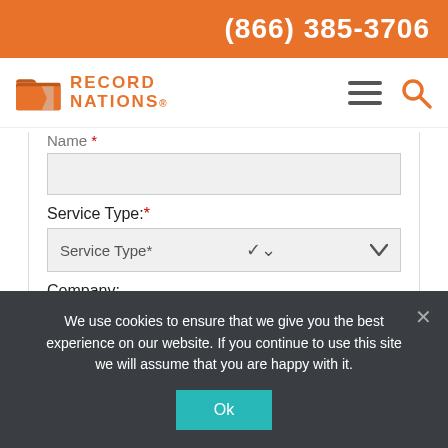(866) 385-3706
[Figure (logo): Record Nations logo with orange folder icon and orange text reading RECORD NATIONS]
Name *
Service Type: *
Service Type* (dropdown)
Company:
Email *:
We use cookies to ensure that we give you the best experience on our website. If you continue to use this site we will assume that you are happy with it.